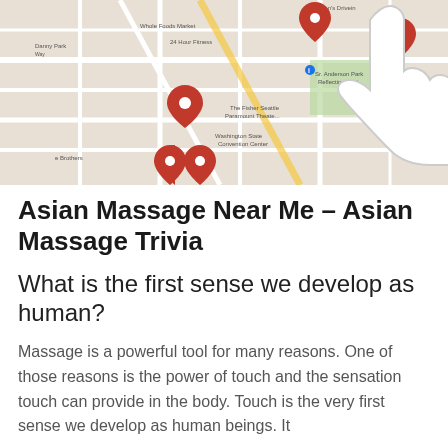[Figure (screenshot): Google Maps screenshot showing a city area with red location pin markers and a large white hand/finger cursor icon overlaid in the center, pointing upward.]
Asian Massage Near Me – Asian Massage Trivia
What is the first sense we develop as human?
Massage is a powerful tool for many reasons. One of those reasons is the power of touch and the sensation touch can provide in the body. Touch is the very first sense we develop as human beings. It